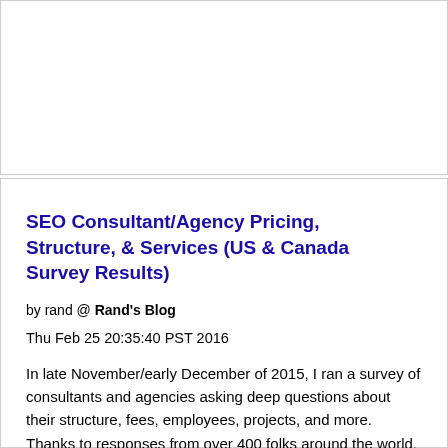SEO Consultant/Agency Pricing, Structure, & Services (US & Canada Survey Results)
by rand @ Rand's Blog
Thu Feb 25 20:35:40 PST 2016
In late November/early December of 2015, I ran a survey of consultants and agencies asking deep questions about their structure, fees, employees, projects, and more. Thanks to responses from over 400 folks around the world, I’m able to